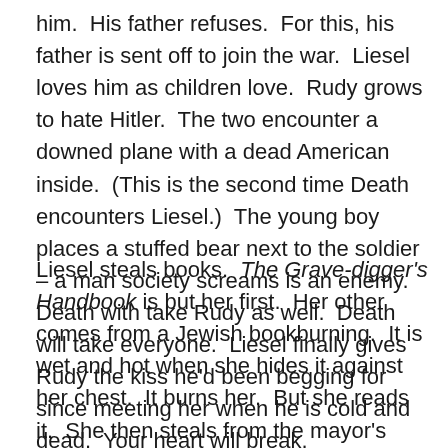him.  His father refuses.  For this, his father is sent off to join the war.  Liesel loves him as children love.  Rudy grows to hate Hitler.  The two encounter a downed plane with a dead American inside.  (This is the second time Death encounters Liesel.)  The young boy places a stuffed bear next to the soldier – a man society screams is an enemy.  Death with take Rudy as well.  Death will take everyone.  Liesel finally gives Rudy the kiss he'd been begging for since meeting her when he is cold and dead.  Your heart will break.
Liesel steals books.  The Grave-digger's Handbook is but her first.  Her other comes from a Jewish bookburning.  It is wet and hot when she hides it against her chest.  It burns her.  But she reads it.  She then steals from the mayor's wife's library.  But it isn't stealing.  The white-haired woman opens the library for